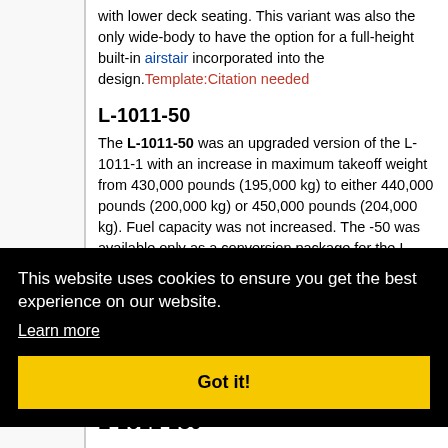with lower deck seating. This variant was also the only wide-body to have the option for a full-height built-in airstair incorporated into the design.Template:Citation needed
L-1011-50
The L-1011-50 was an upgraded version of the L-1011-1 with an increase in maximum takeoff weight from 430,000 pounds (195,000 kg) to either 440,000 pounds (200,000 kg) or 450,000 pounds (204,000 kg). Fuel capacity was not increased. The -50 was available only as a conversion package for the L-1011-1 and was
featured the convert. It longer- a and
L-1011-150
This website uses cookies to ensure you get the best experience on our website.
Learn more
Got it!